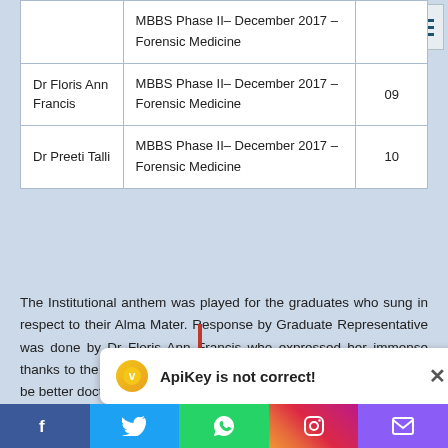| Name | Examination | No. |
| --- | --- | --- |
|  | MBBS Phase II– December 2017 – Forensic Medicine |  |
| Dr Floris Ann Francis | MBBS Phase II– December 2017 – Forensic Medicine | 09 |
| Dr Preeti Talli | MBBS Phase II– December 2017 – Forensic Medicine | 10 |
The Institutional anthem was played for the graduates who sung in respect to their Alma Mater. Response by Graduate Representative was done by Dr Floris Ann Francis who expressed her immense thanks to the management faculty and staff in help molding them to be better doctors. Her re...